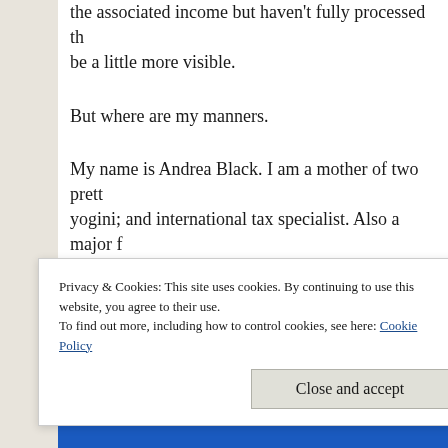the associated income but haven't fully processed that will be a little more visible.
But where are my manners.
My name is Andrea Black. I am a mother of two pretty yogini; and international tax specialist. Also a major f
And I am having a gap year.
They weren't a thing when I was young but as I have a
Privacy & Cookies: This site uses cookies. By continuing to use this website, you agree to their use.
To find out more, including how to control cookies, see here: Cookie Policy
Close and accept